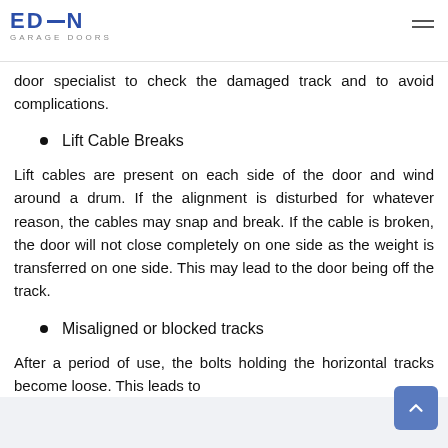EDEN GARAGE DOORS
door specialist to check the damaged track and to avoid complications.
Lift Cable Breaks
Lift cables are present on each side of the door and wind around a drum. If the alignment is disturbed for whatever reason, the cables may snap and break. If the cable is broken, the door will not close completely on one side as the weight is transferred on one side. This may lead to the door being off the track.
Misaligned or blocked tracks
After a period of use, the bolts holding the horizontal tracks become loose. This leads to